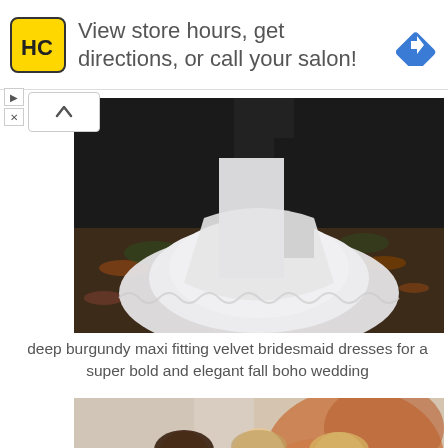[Figure (photo): Advertisement banner with HC salon logo (yellow square with black HC letters), text 'View store hours, get directions, or call your salon!', and a blue navigation diamond icon on the right]
[Figure (photo): Wedding dress train spread on autumn leaves ground, dark moody outdoor setting, white lace gown]
deep burgundy maxi fitting velvet bridesmaid dresses for a super bold and elegant fall boho wedding
[Figure (photo): Three bridesmaids smiling together against a weathered orange/white wall, wearing rust/burgundy colored dresses]